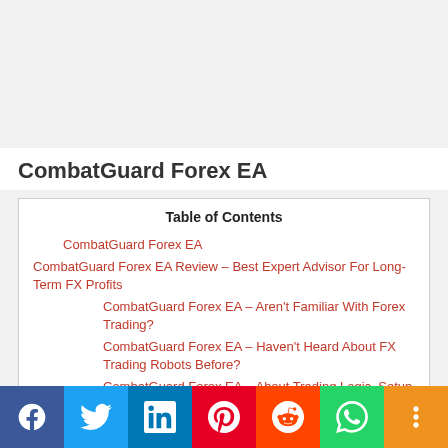CombatGuard Forex EA
Table of Contents
CombatGuard Forex EA
CombatGuard Forex EA Review – Best Expert Advisor For Long-Term FX Profits
CombatGuard Forex EA – Aren't Familiar With Forex Trading?
CombatGuard Forex EA – Haven't Heard About FX Trading Robots Before?
CombatGuard Forex EA – About Trading Logic, Setup And Other Requirements
Visit the Official CombatGuard Forex EA website